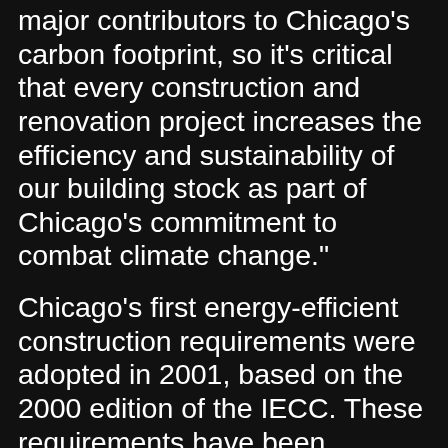major contributors to Chicago's carbon footprint, so it's critical that every construction and renovation project increases the efficiency and sustainability of our building stock as part of Chicago's commitment to combat climate change."
Chicago's first energy-efficient construction requirements were adopted in 2001, based on the 2000 edition of the IECC. These requirements have been regularly strengthened in alignment with the IECC's 3-year revision cycle.  Most recently, Chicago adopted requirements based on the 2018 IECC in April 2019. Each new edition of the Chicago Energy Code has provided for the cost-effective reduction of energy use. The 2022 Code